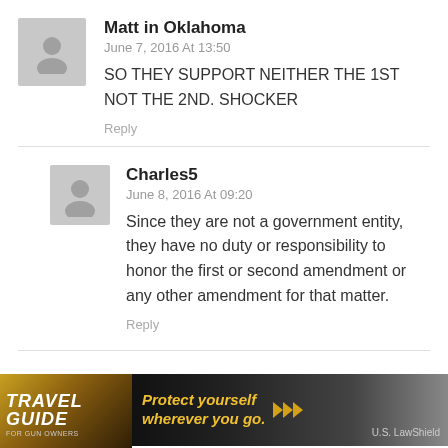Matt in Oklahoma
June 7, 2016 At 13:50
SO THEY SUPPORT NEITHER THE 1ST NOT THE 2ND. SHOCKER
Reply
Charles5
June 8, 2016 At 09:20
Since they are not a government entity, they have no duty or responsibility to honor the first or second amendment or any other amendment for that matter.
Reply
[Figure (photo): Travel Guide for Gun Owners advertisement banner with text 'Protect yourself wherever you go.']